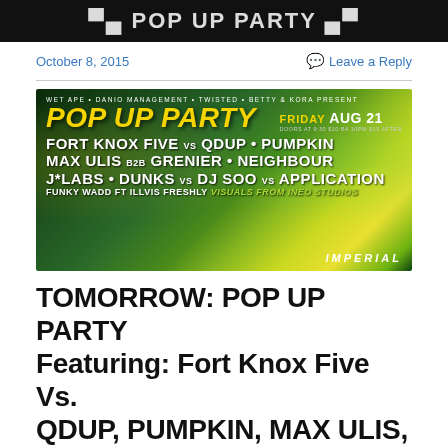[Figure (illustration): Top black banner with white stylized text logo]
October 8, 2015
Leave a Reply
[Figure (infographic): Pop Up Party event poster: WET APE • DANIO MANAGEMENT • TWISTED • BETTY & KORA PRESENT POP UP PARTY FRIDAY AUG 21 DOORS AT 9:30 $10 B4 10PM $15 AFTER. FORT KNOX FIVE vs QDUP • PUMPKIN, MAX ULIS B2B GRENIER • NEIGHBOUR, J*LABS • DUNKS vs DJ SOO vs APPLICATION, FUNKY WADD ft ILLVIS FRESHLY VISUALS FROM INEO STUDIOS. IMPERIAL.]
TOMORROW: POP UP PARTY Featuring: Fort Knox Five Vs. QDUP, PUMPKIN, MAX ULIS, GRENIER, NEIGHBOUR,